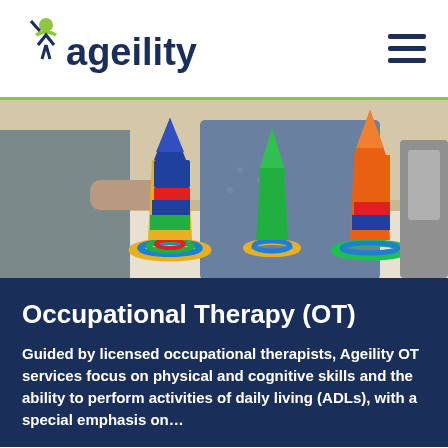Ageility
[Figure (photo): Two people at a table with colorful stacking cups and ring toss rings in a rehabilitation/therapy setting. One person in a gray top appears to be a therapist, the other in a blue denim jacket is the patient.]
Occupational Therapy (OT)
Guided by licensed occupational therapists, Ageility OT services focus on physical and cognitive skills and the ability to perform activities of daily living (ADLs), with a special emphasis on…